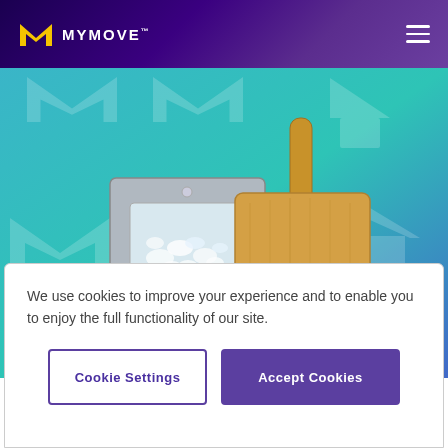MYMOVE
[Figure (photo): Hero image showing a countertop ice maker machine (stainless steel with visible ice nuggets) and a bamboo cutting board/paddle on a teal/blue geometric patterned background with MYMOVE logo watermarks.]
We use cookies to improve your experience and to enable you to enjoy the full functionality of our site.
Cookie Settings
Accept Cookies